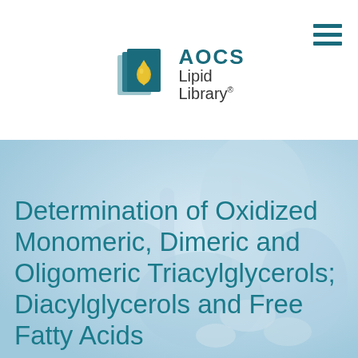[Figure (logo): AOCS Lipid Library logo with teal book icon containing a gold/yellow droplet, and 'AOCS Lipid Library®' text]
[Figure (photo): Blue-tinted background photo of laboratory glassware and hands in gloves]
Determination of Oxidized Monomeric, Dimeric and Oligomeric Triacylglycerols; Diacylglycerols and Free Fatty Acids